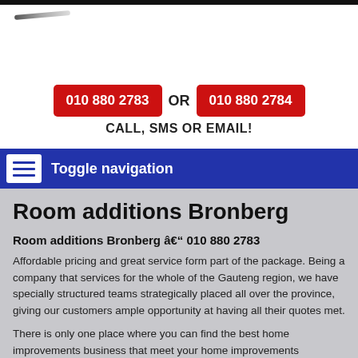[Figure (logo): Small logo mark — dark diagonal lines resembling a stylized logo at top left]
010 880 2783 OR 010 880 2784
CALL, SMS OR EMAIL!
Toggle navigation
Room additions Bronberg
Room additions Bronberg â€" 010 880 2783
Affordable pricing and great service form part of the package. Being a company that services for the whole of the Gauteng region, we have specially structured teams strategically placed all over the province, giving our customers ample opportunity at having all their quotes met.
There is only one place where you can find the best home improvements business that meet your home improvements